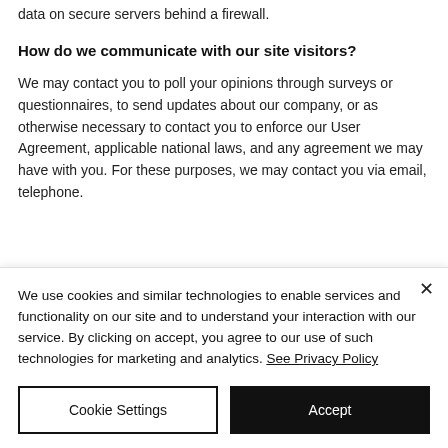data on secure servers behind a firewall.
How do we communicate with our site visitors?
We may contact you to poll your opinions through surveys or questionnaires, to send updates about our company, or as otherwise necessary to contact you to enforce our User Agreement, applicable national laws, and any agreement we may have with you. For these purposes, we may contact you via email, telephone.
We use cookies and similar technologies to enable services and functionality on our site and to understand your interaction with our service. By clicking on accept, you agree to our use of such technologies for marketing and analytics. See Privacy Policy
Cookie Settings
Accept